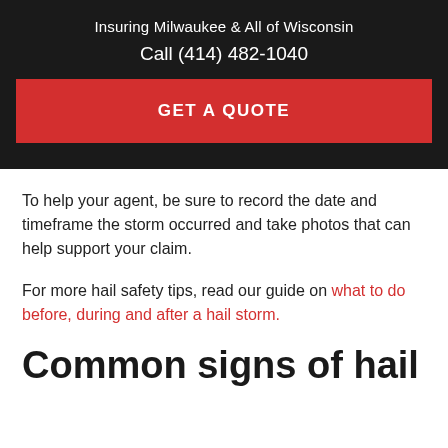Insuring Milwaukee & All of Wisconsin
Call (414) 482-1040
GET A QUOTE
To help your agent, be sure to record the date and timeframe the storm occurred and take photos that can help support your claim.
For more hail safety tips, read our guide on what to do before, during and after a hail storm.
Common signs of hail